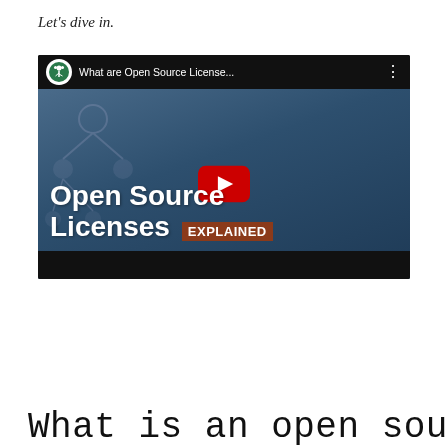Let’s dive in.
[Figure (screenshot): YouTube video thumbnail for 'What are Open Source License...' showing a blue-toned graphic with bold white text reading 'Open Source Licenses EXPLAINED' and a red YouTube play button in the center. The video player header shows a circular tree logo icon and the video title.]
What is an open source